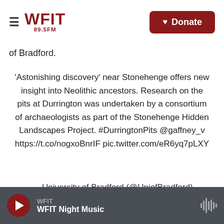WFIT 89.5FM — Donate
of Bradford.
'Astonishing discovery' near Stonehenge offers new insight into Neolithic ancestors. Research on the pits at Durrington was undertaken by a consortium of archaeologists as part of the Stonehenge Hidden Landscapes Project. #DurringtonPits @gaffney_v https://t.co/nogxoBnrIF pic.twitter.com/eR6yq7pLXY
— University of Bradford (@UniofBradford)
WFIT — WFIT Night Music